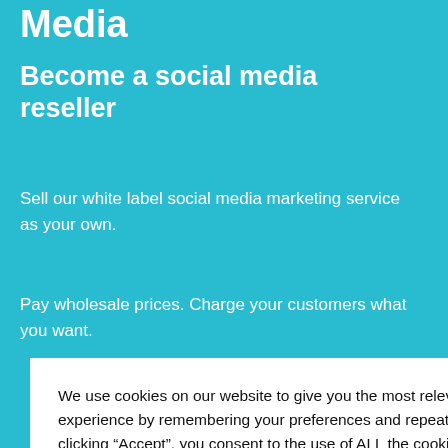Media
Become a social media reseller
Sell our white label social media marketing service as your own.
Pay wholesale prices. Charge your customers what you want.
We use cookies on our website to give you the most relevant experience by remembering your preferences and repeat visits. By clicking “Accept”, you consent to the use of ALL the cookies.
Cookie settings Cookie settings
ACCEPT